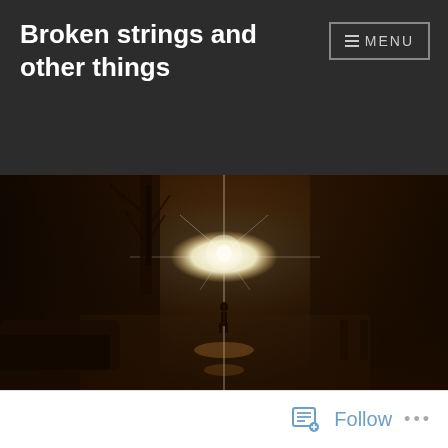Broken strings and other things
MENU
[Figure (photo): Street scene with sunlight flare shining between buildings along a sidewalk; cafe chairs to the right, parked cars to the left, bare winter trees, and a silhouetted pedestrian walking toward the bright sun.]
Follow
...